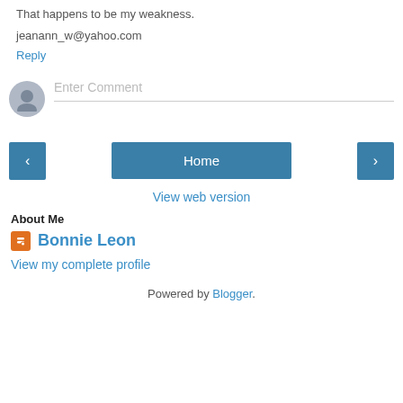That happens to be my weakness.
jeanann_w@yahoo.com
Reply
[Figure (other): Comment input field with user avatar placeholder and 'Enter Comment' placeholder text]
[Figure (other): Navigation buttons: left arrow, Home, right arrow]
View web version
About Me
Bonnie Leon
View my complete profile
Powered by Blogger.